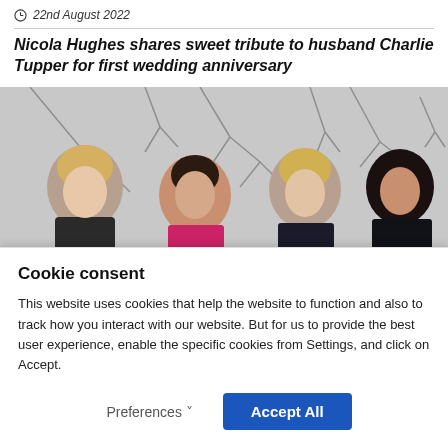22nd August 2022
Nicola Hughes shares sweet tribute to husband Charlie Tupper for first wedding anniversary
[Figure (photo): Four women standing outdoors in front of bare winter trees. From left: a woman with long blonde hair in a dark jacket, a woman with dark hair wearing a bright pink/magenta top, a woman with blonde hair in a dark outfit, and a woman with dark hair in a black hijab and dark clothing. All four appear to be looking downward.]
Cookie consent
This website uses cookies that help the website to function and also to track how you interact with our website. But for us to provide the best user experience, enable the specific cookies from Settings, and click on Accept.